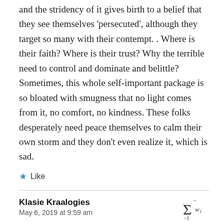and the stridency of it gives birth to a belief that they see themselves 'persecuted', although they target so many with their contempt. . Where is their faith? Where is their trust? Why the terrible need to control and dominate and belittle? Sometimes, this whole self-important package is so bloated with smugness that no light comes from it, no comfort, no kindness. These folks desperately need peace themselves to calm their own storm and they don't even realize it, which is sad.
★ Like
Klasie Kraalogies
May 6, 2019 at 9:59 am
[Figure (math-figure): Summation symbol: sum from -1 of w_i]
It also induces magical thinking, and leads to horrible